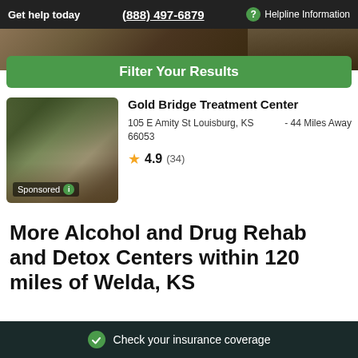Get help today | (888) 497-6879 | Helpline Information
[Figure (photo): Partial top view of a building exterior with trees, cropped]
Filter Your Results
[Figure (photo): Photo of Gold Bridge Treatment Center building exterior with trees, labeled Sponsored]
Gold Bridge Treatment Center
105 E Amity St Louisburg, KS 66053 - 44 Miles Away
4.9 (34)
More Alcohol and Drug Rehab and Detox Centers within 120 miles of Welda, KS
Check your insurance coverage